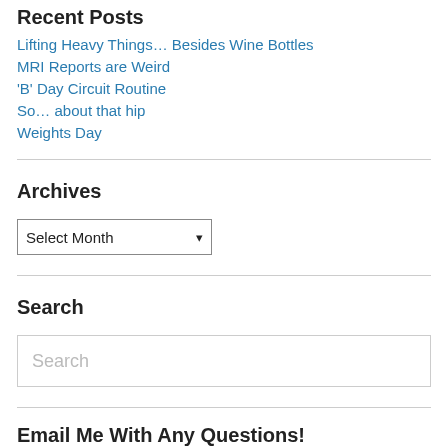Recent Posts
Lifting Heavy Things… Besides Wine Bottles
MRI Reports are Weird
'B' Day Circuit Routine
So… about that hip
Weights Day
Archives
Select Month
Search
Search
Email Me With Any Questions!